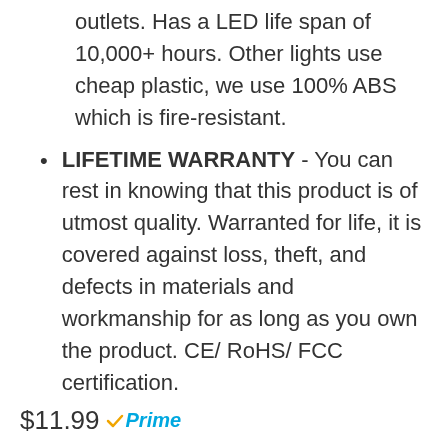outlets. Has a LED life span of 10,000+ hours. Other lights use cheap plastic, we use 100% ABS which is fire-resistant.
LIFETIME WARRANTY - You can rest in knowing that this product is of utmost quality. Warranted for life, it is covered against loss, theft, and defects in materials and workmanship for as long as you own the product. CE/ RoHS/ FCC certification.
$11.99 Prime